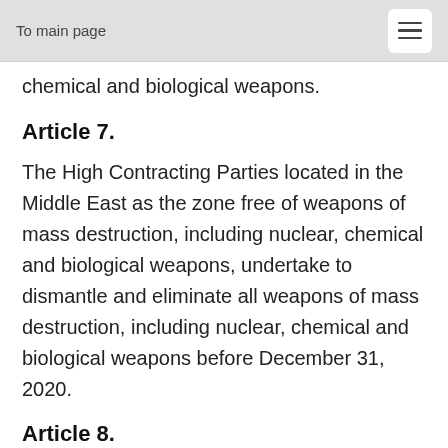To main page
chemical and biological weapons.
Article 7.
The High Contracting Parties located in the Middle East as the zone free of weapons of mass destruction, including nuclear, chemical and biological weapons, undertake to dismantle and eliminate all weapons of mass destruction, including nuclear, chemical and biological weapons before December 31, 2020.
Article 8.